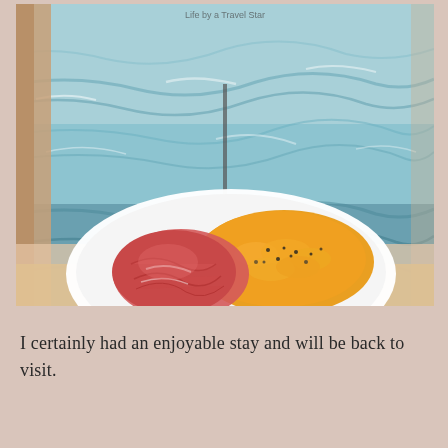[Figure (photo): A white plate with scrambled eggs topped with black pepper and sliced prosciutto/cured meat, placed on a beige tablecloth. In the background, a turquoise/blue choppy sea is visible through a window, with a wooden railing. A small watermark text is visible at the top center.]
I certainly had an enjoyable stay and will be back to visit.